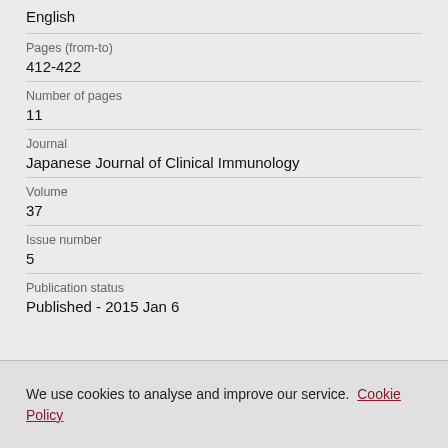English
Pages (from-to)
412-422
Number of pages
11
Journal
Japanese Journal of Clinical Immunology
Volume
37
Issue number
5
Publication status
Published - 2015 Jan 6
We use cookies to analyse and improve our service. Cookie Policy